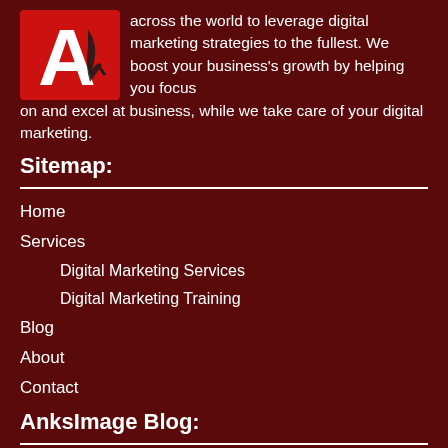[Figure (logo): AnksImage logo: red square background with white letter A and a black pen/feather accent]
across the world to leverage digital marketing strategies to the fullest. We boost your business's growth by helping you focus on and excel at business, while we take care of your digital marketing.
Sitemap:
Home
Services
Digital Marketing Services
Digital Marketing Training
Blog
About
Contact
AnksImage Blog:
How to Be Successful at Social Media Marketing